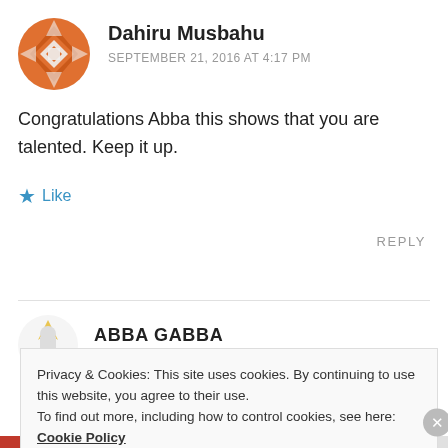Dahiru Musbahu
SEPTEMBER 21, 2016 AT 4:17 PM
Congratulations Abba this shows that you are talented. Keep it up.
Like
REPLY
[Figure (illustration): Partially visible avatar/icon for next commenter labeled ABBA GABBA]
ABBA GABBA
Privacy & Cookies: This site uses cookies. By continuing to use this website, you agree to their use. To find out more, including how to control cookies, see here: Cookie Policy
Close and accept